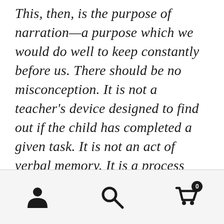This, then, is the purpose of narration—a purpose which we would do well to keep constantly before us. There should be no misconception. It is not a teacher's device designed to find out if the child has completed a given task. It is not an act of verbal memory. It is a process which makes all the difference between a child knowing a thing and not knowing it. Narration is, indeed, like faith, the substance of things
[Figure (other): Bottom navigation bar with three icons: a person/account icon on the left, a search magnifying glass icon in the center, and a shopping cart icon on the right with a badge showing '0']